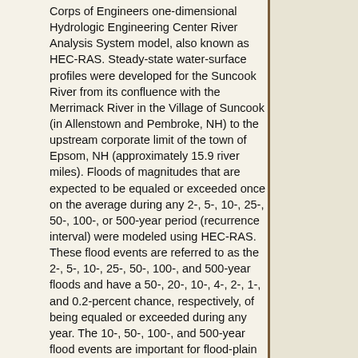Corps of Engineers one-dimensional Hydrologic Engineering Center River Analysis System model, also known as HEC-RAS. Steady-state water-surface profiles were developed for the Suncook River from its confluence with the Merrimack River in the Village of Suncook (in Allenstown and Pembroke, NH) to the upstream corporate limit of the town of Epsom, NH (approximately 15.9 river miles). Floods of magnitudes that are expected to be equaled or exceeded once on the average during any 2-, 5-, 10-, 25-, 50-, 100-, or 500-year period (recurrence interval) were modeled using HEC-RAS. These flood events are referred to as the 2-, 5-, 10-, 25-, 50-, 100-, and 500-year floods and have a 50-, 20-, 10-, 4-, 2-, 1-, and 0.2-percent chance, respectively, of being equaled or exceeded during any year. The 10-, 50-, 100-, and 500-year flood events are important for flood-plain management, determination of flood-insurance rates, and design of structures such as bridges and culverts. The analyses in this study reflect flooding potentials that are based on existing conditions in the communities of Epsom, Pembroke, and Allenstown at the time of completion of this study (2009). Changes in the 100-year recurrence-interval flood elevation from the 1979 flood study were typically less than 2 feet with the exception of